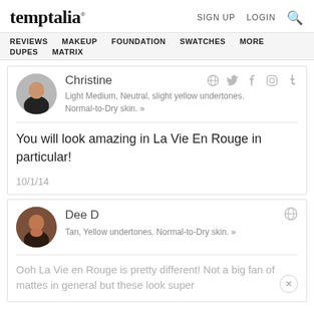temptalia® | SIGN UP  LOGIN  🔍
REVIEWS  MAKEUP  FOUNDATION  SWATCHES  MORE  DUPES  MATRIX
Christine
Light Medium, Neutral, slight yellow undertones. Normal-to-Dry skin. »
You will look amazing in La Vie En Rouge in particular!
10/1/14
Dee D
Tan, Yellow undertones. Normal-to-Dry skin. »
Ooh La Vie en Rouge is pretty different! Not a big fan of mattes in general but these look super